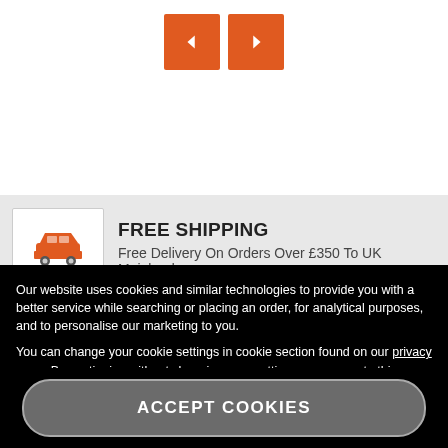[Figure (other): Two orange navigation arrow buttons (left < and right >) centered at top of page]
[Figure (other): Free Shipping banner with car icon, title FREE SHIPPING, subtitle Free Delivery On Orders Over £350 To UK Mainland]
Our website uses cookies and similar technologies to provide you with a better service while searching or placing an order, for analytical purposes, and to personalise our marketing to you.

You can change your cookie settings in cookie section found on our privacy page. By continuing without changing your settings, you agree to this use.
Change Cookie Settings
ACCEPT COOKIES